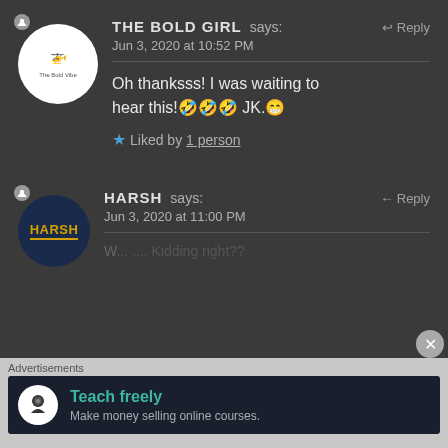THE BOLD GIRL says: Reply
Jun 3, 2020 at 10:52 PM
Oh thanksss! I was waiting to hear this!🤣🤣🤣 JK.😁
★ Liked by 1 person
HARSH says: ← Reply
Jun 3, 2020 at 11:00 PM
W... ...kidding right??
Advertisements
Teach freely
Make money selling online courses.